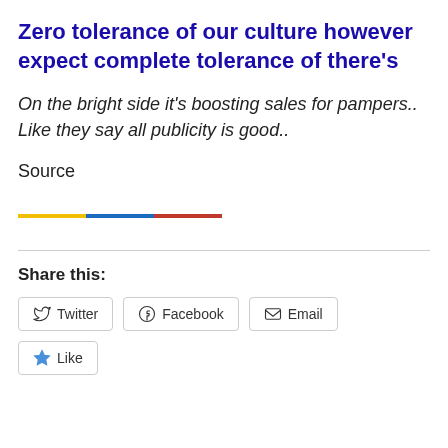Zero tolerance of our culture however expect complete tolerance of there's
On the bright side it's boosting sales for pampers.. Like they say all publicity is good..
Source
[Figure (other): Three-colored horizontal line decoration: yellow, blue, red segments]
Share this:
Twitter  Facebook  Email
Like